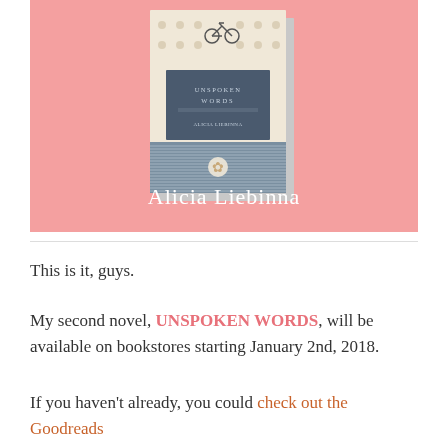[Figure (illustration): Book cover for 'Unspoken Words' by Alicia Liebinna on a pink background. The book cover shows a vintage bicycle at the top on a patterned background, with a dark blue/navy title panel, and a grey striped lower section with a floral embellishment. The author's name 'Alicia Liebinna' is written in white script font below the book.]
This is it, guys.
My second novel, UNSPOKEN WORDS, will be available on bookstores starting January 2nd, 2018.
If you haven't already, you could check out the Goodreads page and the...